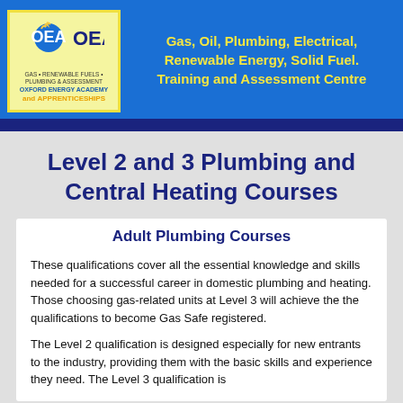[Figure (logo): Oxford Energy Academy logo — OEA initials with flame icon, yellow background, blue border, text 'OXFORD ENERGY ACADEMY' and 'and APPRENTICESHIPS']
Gas, Oil, Plumbing, Electrical, Renewable Energy, Solid Fuel. Training and Assessment Centre
Level 2 and 3 Plumbing and Central Heating Courses
Adult Plumbing Courses
These qualifications cover all the essential knowledge and skills needed for a successful career in domestic plumbing and heating. Those choosing gas-related units at Level 3 will achieve the the qualifications to become Gas Safe registered.
The Level 2 qualification is designed especially for new entrants to the industry, providing them with the basic skills and experience they need. The Level 3 qualification is